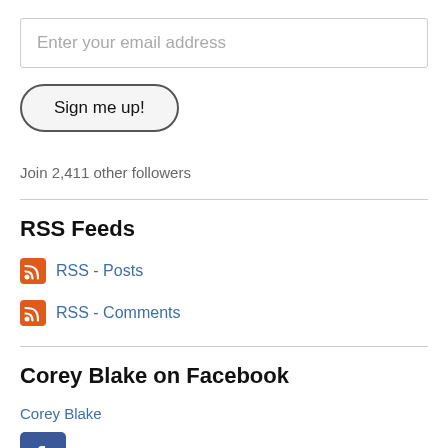Enter your email address
Sign me up!
Join 2,411 other followers
RSS Feeds
RSS - Posts
RSS - Comments
Corey Blake on Facebook
Corey Blake
[Figure (logo): Facebook logo icon - blue square with white f]